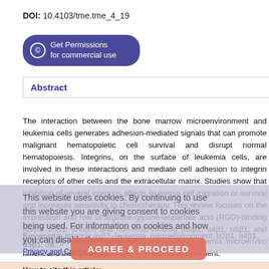DOI: 10.4103/tme.tme_4_19
[Figure (other): Get Permissions for commercial use button (dark blue/purple rounded rectangle with copyright icon)]
Abstract
The interaction between the bone marrow microenvironment and leukemia cells generates adhesion-mediated signals that can promote malignant hematopoietic cell survival and disrupt normal hematopoiesis. Integrins, on the surface of leukemia cells, are involved in these interactions and mediate cell adhesion to integrin receptors of other cells and the extracellular matrix. Studies show that inhibition of several integrins affects leukemia cell migration or survival and increases sensitivity to chemotherapy. This review focuses on the expression and role of arginine-glycine-aspartate acid (RGD)-binding (αvβ3, α5β1, αIIbβ3) and non-RGD-binding (α2β1, α4β1, α6β1, and αLβ2) integrins on leukemia cells and in the leukemia microenvironment and their potential targeting in leukemia treatment.
Keywords: Integrin αvβ3, leukemia, microenvironment, α2β1, α4β1, α5β1, α6...
This website uses cookies. By continuing to use this website you are giving consent to cookies being used. For information on cookies and how you can disable them visit our Privacy and Cookie Policy.
How to cite this article:
Elsharif AA, Patterson LH, Shnyder SD, Sheldrake HM. The role of integrins in acute and potential as targets for therapy. Tumor Microenviron 2018:1:63-71
How to cite this URL:
Elsharif AA, Patterson LH, Shnyder SD, Sheldrake HM. The role of integrins in...